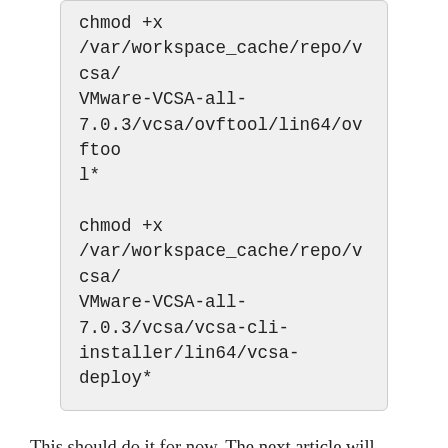chmod +x /var/workspace_cache/repo/vcsa/VMware-VCSA-all-7.0.3/vcsa/ovftool/lin64/ovftool*
chmod +x /var/workspace_cache/repo/vcsa/VMware-VCSA-all-7.0.3/vcsa/vcsa-cli-installer/lin64/vcsa-deploy*
This should do it for now. The next article will cover some of the pipeline details, and some of the changes I had to make to William Lams Powershell code.